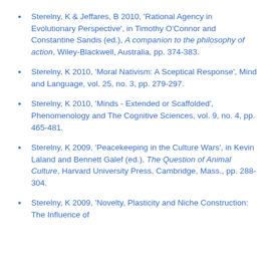Sterelny, K & Jeffares, B 2010, 'Rational Agency in Evolutionary Perspective', in Timothy O'Connor and Constantine Sandis (ed.), A companion to the philosophy of action, Wiley-Blackwell, Australia, pp. 374-383.
Sterelny, K 2010, 'Moral Nativism: A Sceptical Response', Mind and Language, vol. 25, no. 3, pp. 279-297.
Sterelny, K 2010, 'Minds - Extended or Scaffolded', Phenomenology and The Cognitive Sciences, vol. 9, no. 4, pp. 465-481.
Sterelny, K 2009, 'Peacekeeping in the Culture Wars', in Kevin Laland and Bennett Galef (ed.), The Question of Animal Culture, Harvard University Press, Cambridge, Mass., pp. 288-304.
Sterelny, K 2009, 'Novelty, Plasticity and Niche Construction: The Influence of